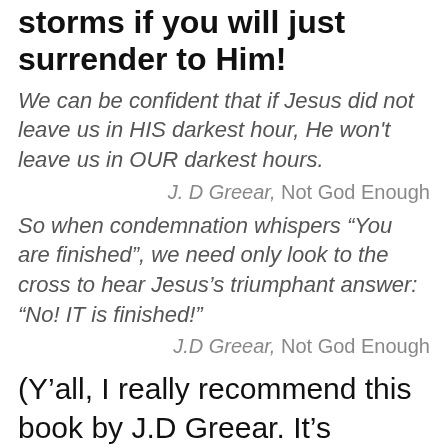storms if you will just surrender to Him!
We can be confident that if Jesus did not leave us in HIS darkest hour, He won't leave us in OUR darkest hours.
J. D Greear, Not God Enough
So when condemnation whispers “You are finished”, we need only look to the cross to hear Jesus’s triumphant answer: “No! IT is finished!”
J.D Greear, Not God Enough
(Y’all, I really recommend this book by J.D Greear. It’s AWESOME!)
For King and Country–Fix My